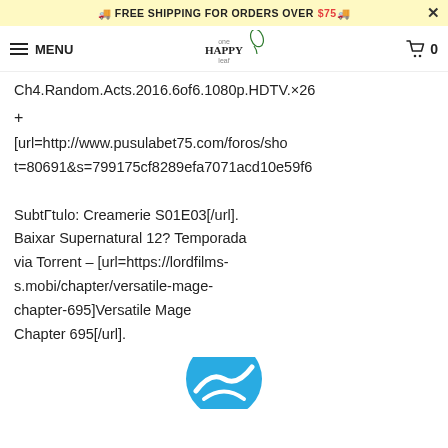🚚 FREE SHIPPING FOR ORDERS OVER $75 🚚
MENU | oneHAPPYleaf logo | 🛒 0
Ch4.Random.Acts.2016.6of6.1080p.HDTV.×26
+
[url=http://www.pusulabet75.com/foros/sho t=80691&s=799175cf8289efa7071acd10e59f6 SubtΓtulo: Creamerie S01E03[/url]. Baixar Supernatural 12? Temporada via Torrent – [url=https://lordfilms-s.mobi/chapter/versatile-mage-chapter-695]Versatile Mage Chapter 695[/url].
[Figure (logo): Circular logo/icon partially visible at bottom center of page]